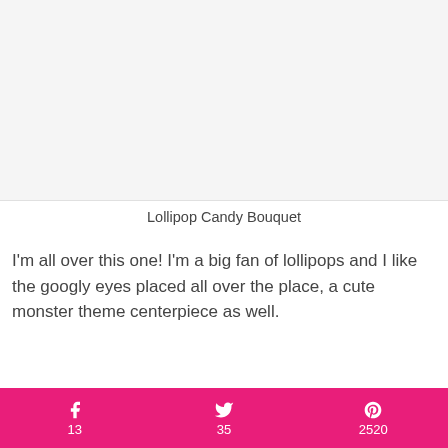[Figure (photo): Placeholder image area for Lollipop Candy Bouquet photo]
Lollipop Candy Bouquet
I'm all over this one! I'm a big fan of lollipops and I like the googly eyes placed all over the place, a cute monster theme centerpiece as well.
13  35  2520